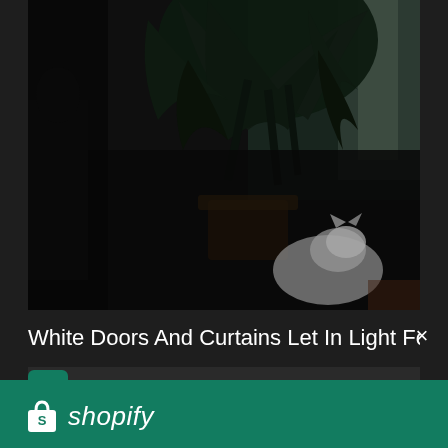[Figure (photo): Dark interior photo showing houseplants (large leafy plant), a white door, and a cat visible in lower right area. Scene is dimly lit.]
White Doors And Curtains Let In Light For Houseplant
[Figure (logo): Shopify logo: white shopping bag icon with 'S' and italic white wordmark 'shopify' on green background]
Need an online store for your business?
Start free trial